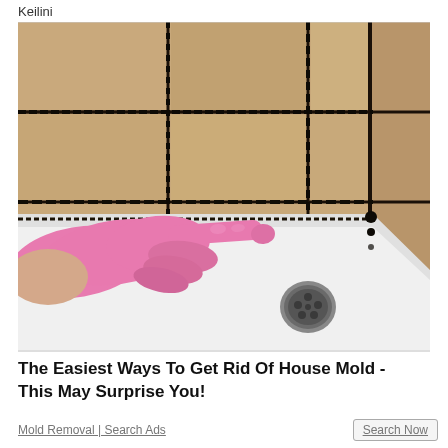Keilini
[Figure (photo): A gloved hand wearing a pink rubber glove pointing at black mold along the grout lines of beige tiles in a shower/bathtub corner. The white bathtub base is visible with a drain in the center. Black mold is visible along the tile grout and caulk seams.]
The Easiest Ways To Get Rid Of House Mold - This May Surprise You!
Mold Removal | Search Ads
Search Now